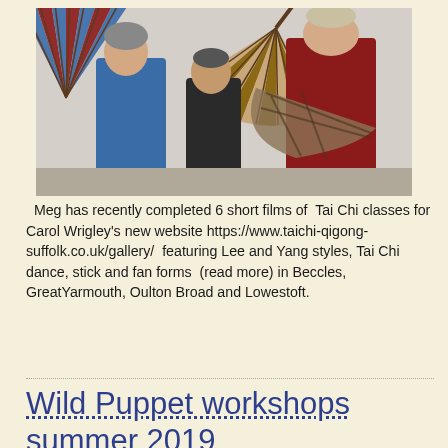[Figure (photo): Three people practicing Tai Chi with large decorative fans in a community hall setting. One person in a blue top holds a blue and red fan, another wears a plaid scarf, and a third stands in the background.]
Meg has recently completed 6 short films of Tai Chi classes for Carol Wrigley's new website https://www.taichi-qigong-suffolk.co.uk/gallery/ featuring Lee and Yang styles, Tai Chi dance, stick and fan forms (read more) in Beccles, GreatYarmouth, Oulton Broad and Lowestoft.
Wild Puppet workshops summer 2019